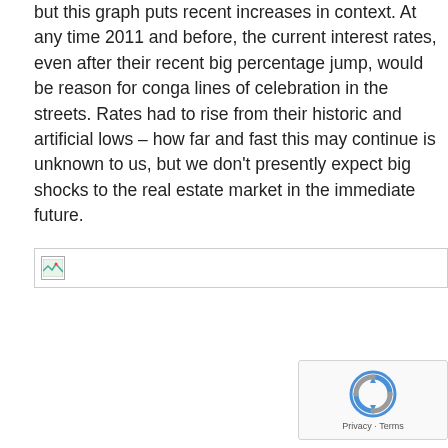but this graph puts recent increases in context. At any time 2011 and before, the current interest rates, even after their recent big percentage jump, would be reason for conga lines of celebration in the streets. Rates had to rise from their historic and artificial lows – how far and fast this may continue is unknown to us, but we don't presently expect big shocks to the real estate market in the immediate future.
[Figure (other): Broken/loading image placeholder with border, content not visible]